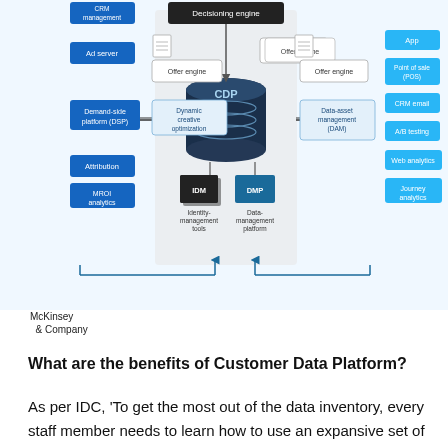[Figure (flowchart): CDP (Customer Data Platform) architecture diagram showing decision engine at top center, CDP cylinder in center, IDM and DMP modules below, with left side showing: CRM management, Ad server, Demand-side platform (DSP), Attribution, MROI analytics, and Offer engine, Dynamic creative optimization boxes. Right side showing: App, Point of sale (POS), CRM email, A/B testing, Web analytics, Journey analytics, and Offer engine, Data-asset management (DAM) boxes. Arrows connect components bidirectionally.]
McKinsey & Company
What are the benefits of Customer Data Platform?
As per IDC, 'To get the most out of the data inventory, every staff member needs to learn how to use an expansive set of enterprise data to do their jobs better, invent new things to do, and serve brand new experiences to customers. CDPs deliver extraordinary data inventories and analytical power to help